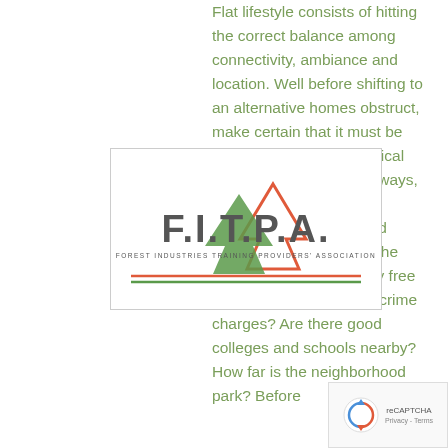Flat lifestyle consists of hitting the correct balance among connectivity, ambiance and location. Well before shifting to an alternative homes obstruct, make certain that it must be near to universities, medical facilities, significant highways, shopping malls, transfer professional services and leisure facilities. Will be the region air pollution-totally free and possesses the best crime charges? Are there good colleges and schools nearby? How far is the neighborhood park? Before
[Figure (logo): F.I.T.P.A. Forest Industries Training Providers Association logo with stylized green and red pine tree graphic]